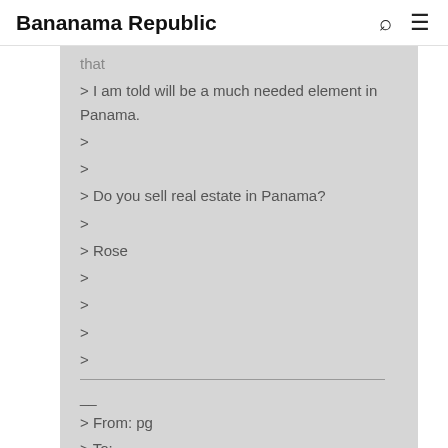Bananama Republic
that
> I am told will be a much needed element in Panama.
>
>
> Do you sell real estate in Panama?
>
> Rose
>
>
>
>
__
> From: pg
> To:
panamaforum@yahoogroups.com